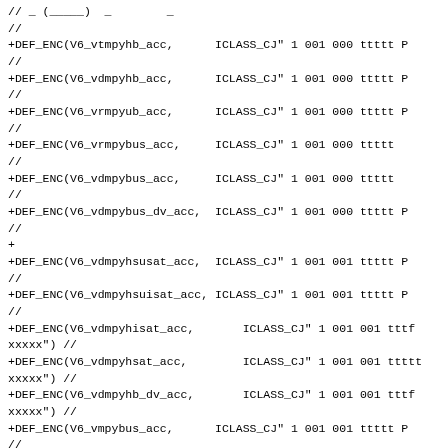// (partial first line cut off)
+DEF_ENC(V6_vtmpyhb_acc,      ICLASS_CJ" 1 001 000 ttttt P
//
+DEF_ENC(V6_vdmpyhb_acc,      ICLASS_CJ" 1 001 000 ttttt P
//
+DEF_ENC(V6_vrmpyub_acc,      ICLASS_CJ" 1 001 000 ttttt P
//
+DEF_ENC(V6_vrmpybus_acc,     ICLASS_CJ" 1 001 000 ttttt
//
+DEF_ENC(V6_vdmpybus_acc,     ICLASS_CJ" 1 001 000 ttttt
//
+DEF_ENC(V6_vdmpybus_dv_acc,  ICLASS_CJ" 1 001 000 ttttt P
//
+
+DEF_ENC(V6_vdmpyhsusat_acc,  ICLASS_CJ" 1 001 001 ttttt P
//
+DEF_ENC(V6_vdmpyhsuisat_acc, ICLASS_CJ" 1 001 001 ttttt P
//
+DEF_ENC(V6_vdmpyhisat_acc,       ICLASS_CJ" 1 001 001 tttf
xxxxx") //
+DEF_ENC(V6_vdmpyhsat_acc,        ICLASS_CJ" 1 001 001 ttttt
xxxxx") //
+DEF_ENC(V6_vdmpyhb_dv_acc,       ICLASS_CJ" 1 001 001 tttf
xxxxx") //
+DEF_ENC(V6_vmpybus_acc,      ICLASS_CJ" 1 001 001 ttttt P
//
+DEF_ENC(V6_vmpabus_acc,      ICLASS_CJ" 1 001 001 ttttt P
//
+DEF_ENC(V6_vmpahb_acc,           ICLASS_CJ" 1 001 001 tttf
xxxxx") //